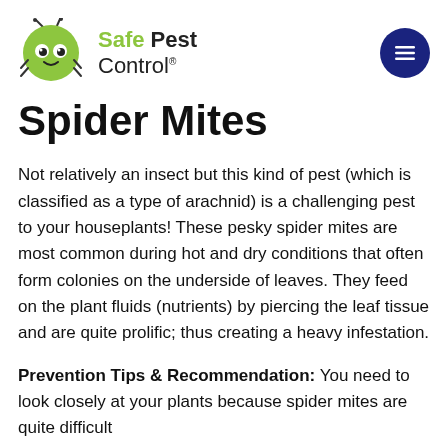[Figure (logo): Safe Pest Control logo: green cartoon insect/bug with antennae on left, text 'Safe Pest Control' on right in black and green, with registered trademark symbol]
Spider Mites
Not relatively an insect but this kind of pest (which is classified as a type of arachnid) is a challenging pest to your houseplants! These pesky spider mites are most common during hot and dry conditions that often form colonies on the underside of leaves. They feed on the plant fluids (nutrients) by piercing the leaf tissue and are quite prolific; thus creating a heavy infestation.
Prevention Tips & Recommendation: You need to look closely at your plants because spider mites are quite difficult